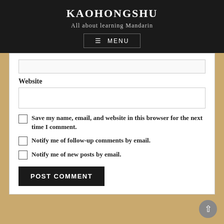KAOHONGSHU
All about learning Mandarin
MENU
Website
Save my name, email, and website in this browser for the next time I comment.
Notify me of follow-up comments by email.
Notify me of new posts by email.
POST COMMENT